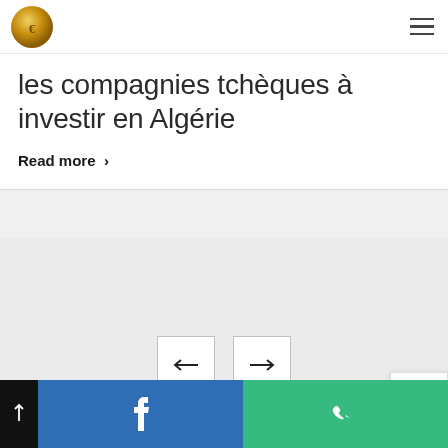[Figure (logo): Gold coin/medal logo in top left corner of header]
les compagnies tchèques à investir en Algérie
Read more >
[Figure (other): Left arrow navigation button]
[Figure (other): Right arrow navigation button]
[Figure (other): Back to top button with up chevron]
Footer bar with dark section, Facebook icon in blue, and phone icon in green